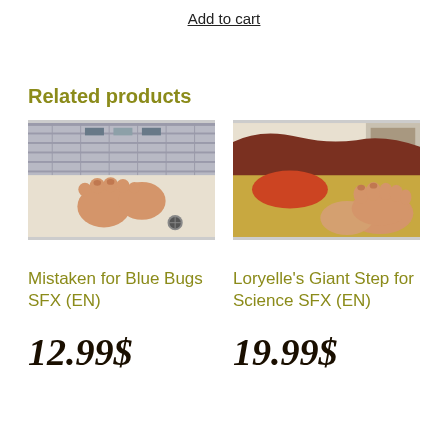Add to cart
Related products
[Figure (photo): Close-up photo of feet on a tiled bathroom floor]
[Figure (photo): Person lying on a bed with feet visible in foreground]
Mistaken for Blue Bugs SFX (EN)
Loryelle’s Giant Step for Science SFX (EN)
12.99$
19.99$